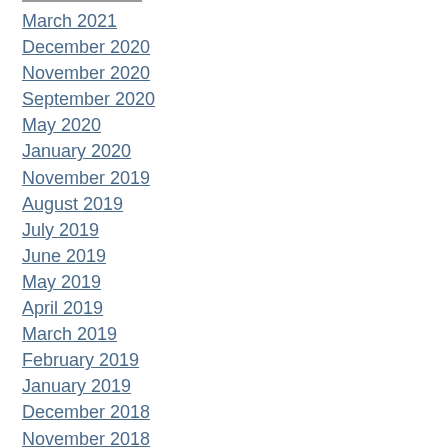March 2021
December 2020
November 2020
September 2020
May 2020
January 2020
November 2019
August 2019
July 2019
June 2019
May 2019
April 2019
March 2019
February 2019
January 2019
December 2018
November 2018
October 2018
September 2018